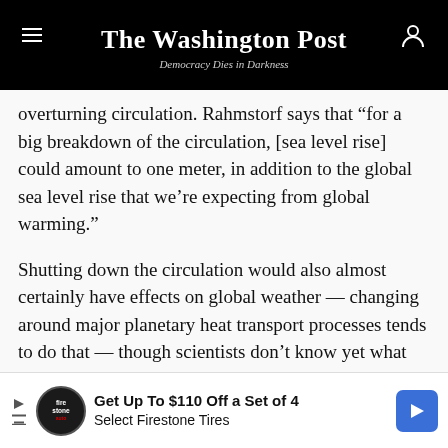The Washington Post — Democracy Dies in Darkness
overturning circulation. Rahmstorf says that “for a big breakdown of the circulation, [sea level rise] could amount to one meter, in addition to the global sea level rise that we’re expecting from global warming.”
Shutting down the circulation would also almost certainly have effects on global weather — changing around major planetary heat transport processes tends to do that — though scientists don’t know yet what those would look like.
So in sum: It appears that we’ve just seen yet another
[Figure (infographic): Advertisement banner: Get Up To $110 Off a Set of 4 Select Firestone Tires, with Firestone auto logo and blue arrow icon]